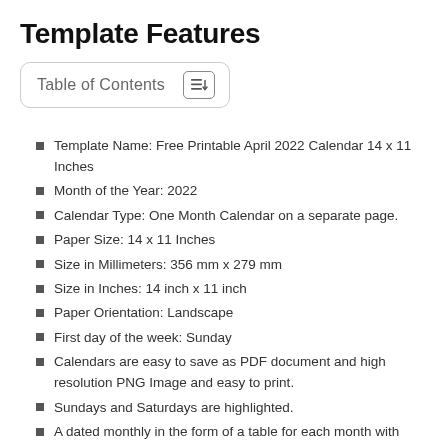Template Features
Table of Contents
Template Name: Free Printable April 2022 Calendar 14 x 11 Inches
Month of the Year: 2022
Calendar Type: One Month Calendar on a separate page.
Paper Size: 14 x 11 Inches
Size in Millimeters: 356 mm x 279 mm
Size in Inches: 14 inch x 11 inch
Paper Orientation: Landscape
First day of the week: Sunday
Calendars are easy to save as PDF document and high resolution PNG Image and easy to print.
Sundays and Saturdays are highlighted.
A dated monthly in the form of a table for each month with cells to fill.